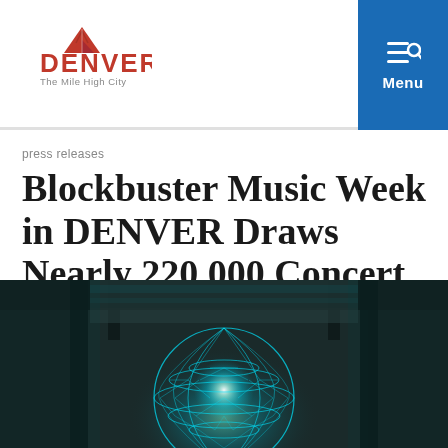DENVER The Mile High City | Menu
press releases
Blockbuster Music Week in DENVER Draws Nearly 220,000 Concert Goers
BY VISIT DENVER PUBLIC RELATIONS STAFF | AUG. 16, 2019
[Figure (photo): A glowing geometric wire-frame sphere (resembling a disco ball or geodesic dome) illuminated in teal/cyan light, hanging from an industrial ceiling with dark structural beams visible above.]